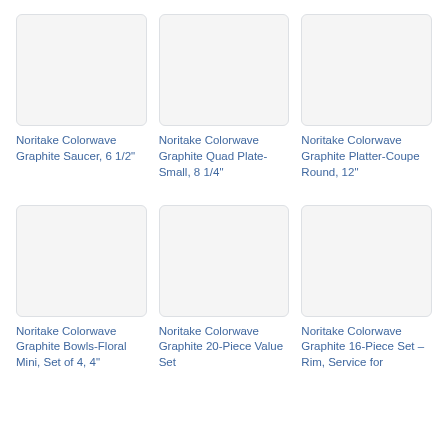[Figure (photo): Product image placeholder for Noritake Colorwave Graphite Saucer]
Noritake Colorwave Graphite Saucer, 6 1/2"
[Figure (photo): Product image placeholder for Noritake Colorwave Graphite Quad Plate-Small]
Noritake Colorwave Graphite Quad Plate-Small, 8 1/4"
[Figure (photo): Product image placeholder for Noritake Colorwave Graphite Platter-Coupe Round]
Noritake Colorwave Graphite Platter-Coupe Round, 12"
[Figure (photo): Product image placeholder for Noritake Colorwave Graphite Bowls-Floral Mini]
Noritake Colorwave Graphite Bowls-Floral Mini, Set of 4, 4"
[Figure (photo): Product image placeholder for Noritake Colorwave Graphite 20-Piece Value Set]
Noritake Colorwave Graphite 20-Piece Value Set
[Figure (photo): Product image placeholder for Noritake Colorwave Graphite 16-Piece Set]
Noritake Colorwave Graphite 16-Piece Set – Rim, Service for